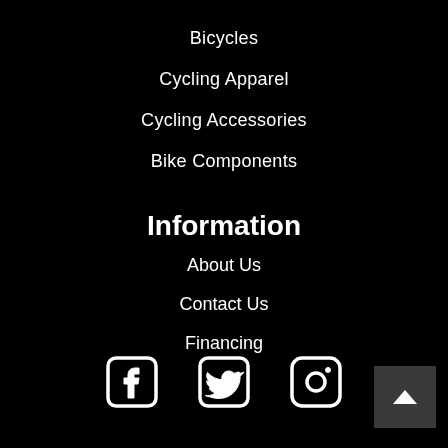Bicycles
Cycling Apparel
Cycling Accessories
Bike Components
Information
About Us
Contact Us
Financing
[Figure (illustration): Social media icons: Facebook, Twitter, Instagram]
[Figure (illustration): Back to top button with upward chevron arrow]